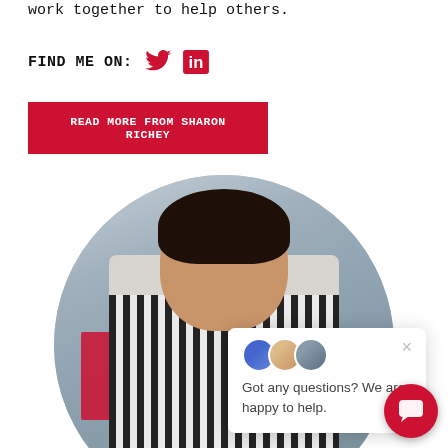work together to help others.
FIND ME ON:
[Figure (logo): Twitter bird icon and LinkedIn 'in' icon in red]
READ MORE FROM SHARON RICHEY
[Figure (photo): Circular portrait photo of a woman with short dark hair wearing a black and white striped blouse, blurred urban background with a red sign]
[Figure (screenshot): Chat popup widget with avatars and text 'Got any questions? We are happy to help.' with a close X button and a red chat bubble button in the bottom right corner]